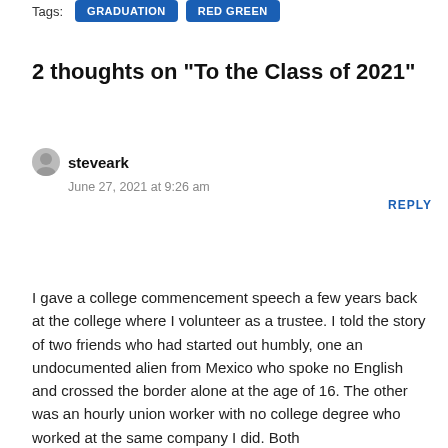Tags: GRADUATION  RED GREEN
2 thoughts on “To the Class of 2021”
steveark
June 27, 2021 at 9:26 am
REPLY
I gave a college commencement speech a few years back at the college where I volunteer as a trustee. I told the story of two friends who had started out humbly, one an undocumented alien from Mexico who spoke no English and crossed the border alone at the age of 16. The other was an hourly union worker with no college degree who worked at the same company I did. Both